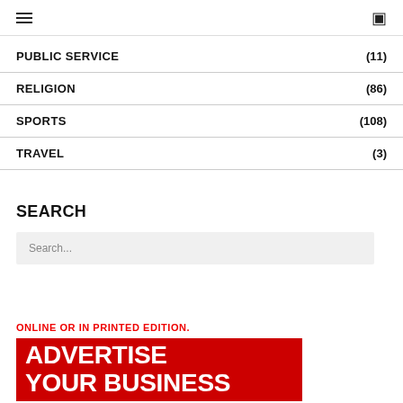Navigation header with hamburger menu and icon
PUBLIC SERVICE (11)
RELIGION (86)
SPORTS (108)
TRAVEL (3)
SEARCH
Search...
ONLINE OR IN PRINTED EDITION.
ADVERTISE YOUR BUSINESS